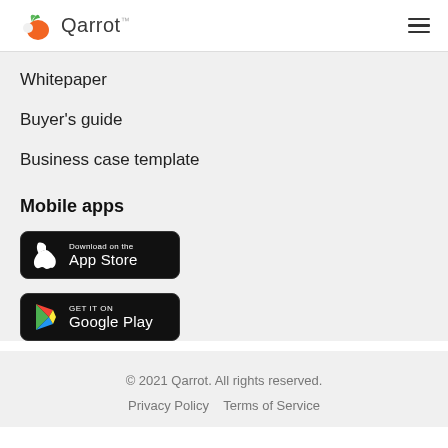Qarrot
Whitepaper
Buyer's guide
Business case template
Mobile apps
[Figure (logo): Download on the App Store badge]
[Figure (logo): Get it on Google Play badge]
© 2021 Qarrot. All rights reserved.
Privacy Policy   Terms of Service